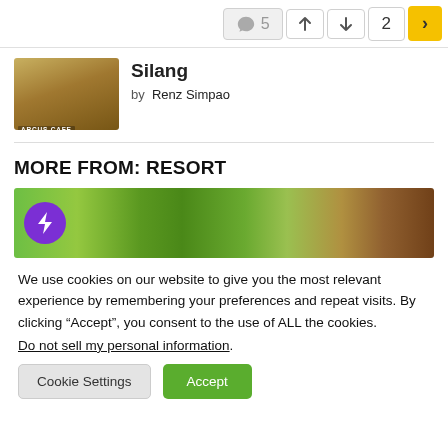5 ↑ ↓ 2 >
Silang
by Renz Simpao
MORE FROM: RESORT
[Figure (photo): Featured resort image with purple lightning bolt circle icon overlay]
We use cookies on our website to give you the most relevant experience by remembering your preferences and repeat visits. By clicking "Accept", you consent to the use of ALL the cookies. Do not sell my personal information.
Cookie Settings   Accept